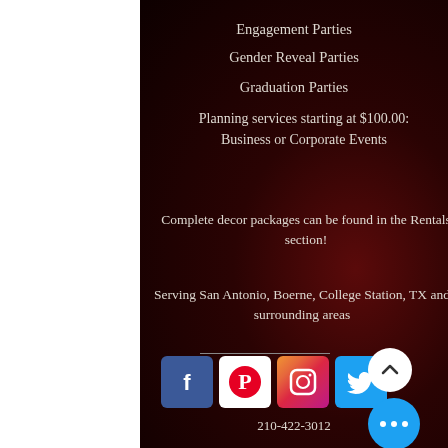Engagement Parties
Gender Reveal Parties
Graduation Parties
Planning services starting at $100.00:
Business or Corporate Events
Complete decor packages can be found in the Rentals section!
Serving San Antonio, Boerne, College Station, TX and surrounding areas
[Figure (infographic): Social media icons: Facebook, Pinterest, Instagram, Twitter]
210-422-3012